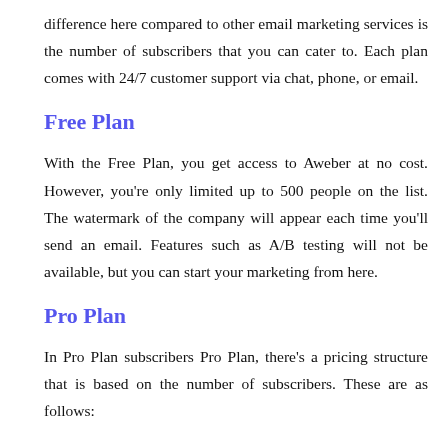difference here compared to other email marketing services is the number of subscribers that you can cater to. Each plan comes with 24/7 customer support via chat, phone, or email.
Free Plan
With the Free Plan, you get access to Aweber at no cost. However, you're only limited up to 500 people on the list. The watermark of the company will appear each time you'll send an email. Features such as A/B testing will not be available, but you can start your marketing from here.
Pro Plan
In Pro Plan subscribers Pro Plan, there's a pricing structure that is based on the number of subscribers. These are as follows: